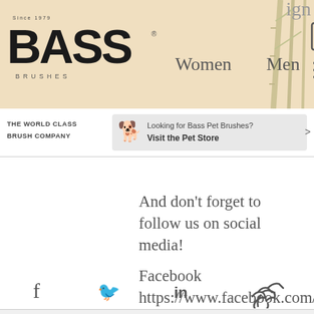[Figure (screenshot): Bass Brushes website header with logo, Women and Men navigation links, shopping bag icon with 0, hamburger menu, and bamboo illustration on a tan/beige background]
[Figure (screenshot): Sub-header bar with 'THE WORLD CLASS BRUSH COMPANY' text and a pet store banner reading 'Looking for Bass Pet Brushes? Visit the Pet Store']
And don't forget to follow us on social media!
Facebook https://www.facebook.com/bassbrushes/
Instagram https://www.instagram.com/bassbrushes/
Twitter https://twitter.com/BassBrushes
[Figure (screenshot): Social share icons row: Facebook (f), Twitter bird, LinkedIn (in), link/chain icon]